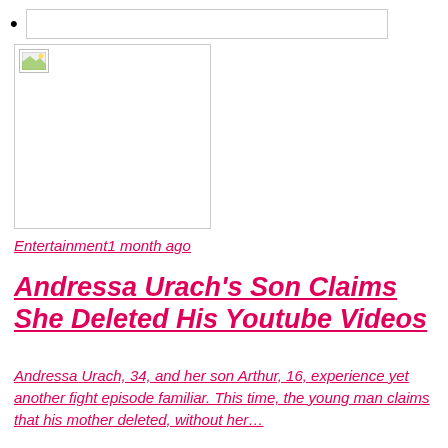•
[Figure (photo): Thumbnail image placeholder with broken image icon in top-left corner]
Entertainment1 month ago
Andressa Urach's Son Claims She Deleted His Youtube Videos
Andressa Urach, 34, and her son Arthur, 16, experience yet another fight episode familiar. This time, the young man claims that his mother deleted, without her...